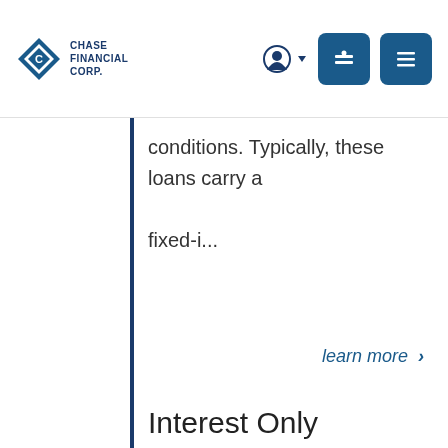Chase Financial Corp.
conditions. Typically, these loans carry a fixed-i...
learn more >
Interest Only
Interest only mortgages are home loans in which the borrower's monthly payments...
This site uses cookies to process your loan application and other features. You may elect not to accept cookies which will keep you from submitting a loan application. By your clicked consent/acceptance you acknowledge and allow the use of cookies. By clicking I Accept you acknowledge you have read and understand Chase Financial Corp.'s Privacy Policy.
specif...